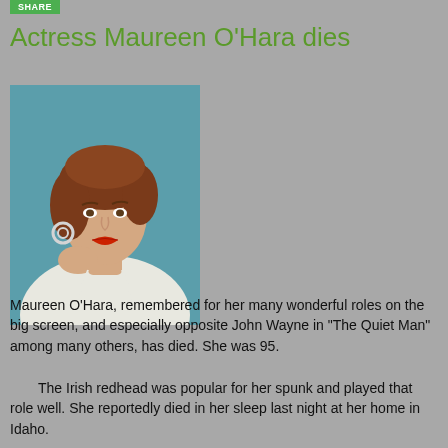Actress Maureen O'Hara dies
[Figure (photo): Color portrait photograph of Maureen O'Hara, a red-haired woman with red lipstick, wearing a white dress and large circular earrings, posed with her chin resting on her hand against a teal background.]
Maureen O'Hara, remembered for her many wonderful roles on the big screen, and especially opposite John Wayne in "The Quiet Man" among many others, has died. She was 95.
The Irish redhead was popular for her spunk and played that role well. She reportedly died in her sleep last night at her home in Idaho.